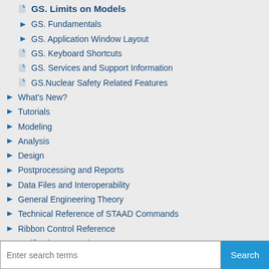GS. Limits on Models
GS. Fundamentals
GS. Application Window Layout
GS. Keyboard Shortcuts
GS. Services and Support Information
GS.Nuclear Safety Related Features
What's New?
Tutorials
Modeling
Analysis
Design
Postprocessing and Reports
Data Files and Interoperability
General Engineering Theory
Technical Reference of STAAD Commands
Ribbon Control Reference
Verification Examples
Application Examples
OpenSTAAD